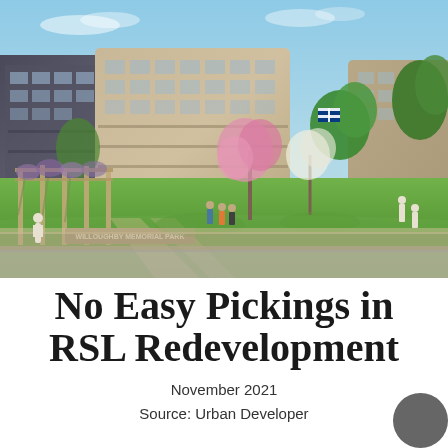[Figure (photo): Architectural rendering of RSL redevelopment showing multi-storey residential buildings with beige/stone facades surrounding a landscaped garden courtyard with pergola, flowering pink trees, lawn, and people walking. A sign reads 'WILLOUGHBY MEMORIAL PARK'. Australian flag visible in background.]
No Easy Pickings in RSL Redevelopment
November 2021
Source: Urban Developer